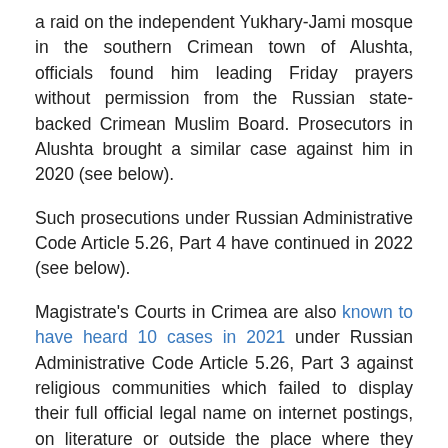a raid on the independent Yukhary-Jami mosque in the southern Crimean town of Alushta, officials found him leading Friday prayers without permission from the Russian state-backed Crimean Muslim Board. Prosecutors in Alushta brought a similar case against him in 2020 (see below).
Such prosecutions under Russian Administrative Code Article 5.26, Part 4 have continued in 2022 (see below).
Magistrate's Courts in Crimea are also known to have heard 10 cases in 2021 under Russian Administrative Code Article 5.26, Part 3 against religious communities which failed to display their full official legal name on internet postings, on literature or outside the place where they meet for worship.
Russia's illegal March 2014 annexation of Crimea is not recognised by Ukraine or internationally.